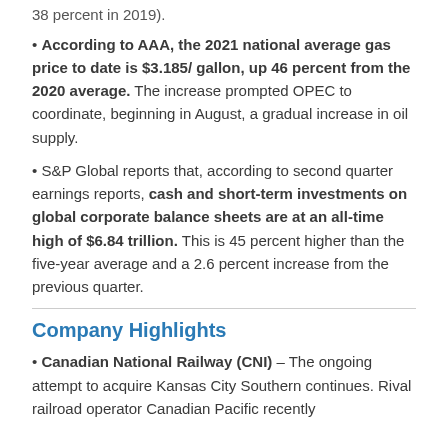38 percent in 2019).
• According to AAA, the 2021 national average gas price to date is $3.185/ gallon, up 46 percent from the 2020 average. The increase prompted OPEC to coordinate, beginning in August, a gradual increase in oil supply.
• S&P Global reports that, according to second quarter earnings reports, cash and short-term investments on global corporate balance sheets are at an all-time high of $6.84 trillion. This is 45 percent higher than the five-year average and a 2.6 percent increase from the previous quarter.
Company Highlights
• Canadian National Railway (CNI) – The ongoing attempt to acquire Kansas City Southern continues. Rival railroad operator Canadian Pacific recently